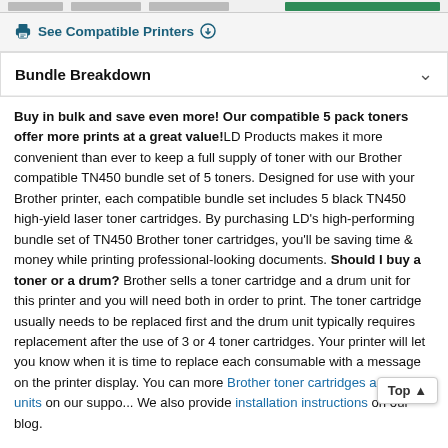See Compatible Printers ⊕
Bundle Breakdown
Buy in bulk and save even more! Our compatible 5 pack toners offer more prints at a great value! LD Products makes it more convenient than ever to keep a full supply of toner with our Brother compatible TN450 bundle set of 5 toners. Designed for use with your Brother printer, each compatible bundle set includes 5 black TN450 high-yield laser toner cartridges. By purchasing LD's high-performing bundle set of TN450 Brother toner cartridges, you'll be saving time & money while printing professional-looking documents. Should I buy a toner or a drum? Brother sells a toner cartridge and a drum unit for this printer and you will need both in order to print. The toner cartridge usually needs to be replaced first and the drum unit typically requires replacement after the use of 3 or 4 toner cartridges. Your printer will let you know when it is time to replace each consumable with a message on the printer display. You can more Brother toner cartridges and drum units on our support page. We also provide installation instructions on our blog.